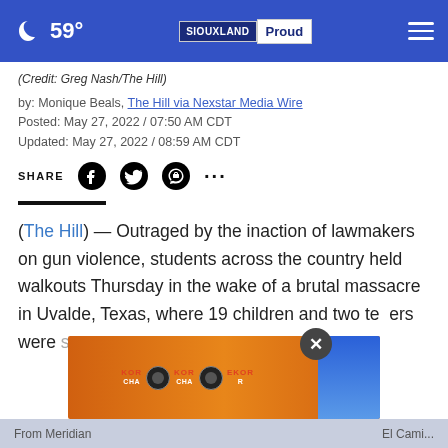59° SIOUXLAND Proud
(Credit: Greg Nash/The Hill)
by: Monique Beals, The Hill via Nexstar Media Wire
Posted: May 27, 2022 / 07:50 AM CDT
Updated: May 27, 2022 / 08:59 AM CDT
SHARE
(The Hill) — Outraged by the inaction of lawmakers on gun violence, students across the country held walkouts Thursday in the wake of a brutal massacre in Uvalde, Texas, where 19 children and two teachers were s...
[Figure (screenshot): Advertisement overlay showing KOR energy drink branding on orange background with blue strip on right]
From Meridian                    El Cami...